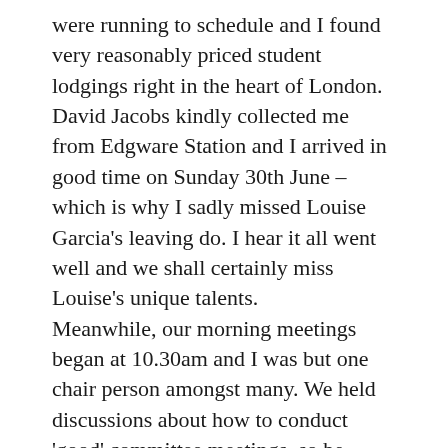were running to schedule and I found very reasonably priced student lodgings right in the heart of London. David Jacobs kindly collected me from Edgware Station and I arrived in good time on Sunday 30th June – which is why I sadly missed Louise Garcia's leaving do. I hear it all went well and we shall certainly miss Louise's unique talents. Meanwhile, our morning meetings began at 10.30am and I was but one chair person amongst many. We held discussions about how to conduct 'good' committee meetings, so be prepared, committee members, to be shaken, though not necessarily stirred! After lunch we participated in the AGM and the anticipated computer-led meeting was slightly let down by the computer not co-operating at all!! Well, Noah wasn't there! Still we went ahead and we looked at the past year and the year to come. In some ways Kehillat Kernow is still somewhat adrift of the mainstream largely due to where we are and the spread of our